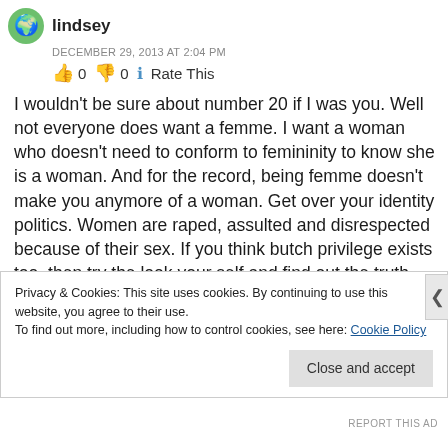lindsey
DECEMBER 29, 2013 AT 2:04 PM
👍 0 👎 0 ℹ Rate This
I wouldn't be sure about number 20 if I was you. Well not everyone does want a femme. I want a woman who doesn't need to conform to femininity to know she is a woman. And for the record, being femme doesn't make you anymore of a woman. Get over your identity politics. Women are raped, assulted and disrespected because of their sex. If you think butch privilege exists too, then try the look your self and find out the truth. Femmes get benevolent sexism, butches get malevolent sexism.
Privacy & Cookies: This site uses cookies. By continuing to use this website, you agree to their use.
To find out more, including how to control cookies, see here: Cookie Policy
Close and accept